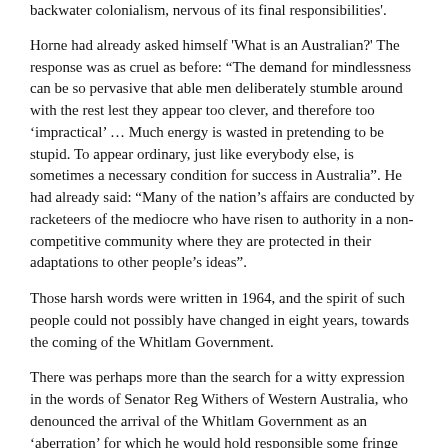backwater colonialism, nervous of its final responsibilities'.
Horne had already asked himself 'What is an Australian?' The response was as cruel as before: “The demand for mindlessness can be so pervasive that able men deliberately stumble around with the rest lest they appear too clever, and therefore too ‘impractical’ … Much energy is wasted in pretending to be stupid. To appear ordinary, just like everybody else, is sometimes a necessary condition for success in Australia”. He had already said: “Many of the nation’s affairs are conducted by racketeers of the mediocre who have risen to authority in a non-competitive community where they are protected in their adaptations to other people’s ideas”.
Those harsh words were written in 1964, and the spirit of such people could not possibly have changed in eight years, towards the coming of the Whitlam Government.
There was perhaps more than the search for a witty expression in the words of Senator Reg Withers of Western Australia, who denounced the arrival of the Whitlam Government as an ‘aberration’ for which he would hold responsible some fringe seats around the two main Australian cities. In and out of the Senate Withers was known as ‘the Toe-cutter’. He was a monarchist, ‘non-